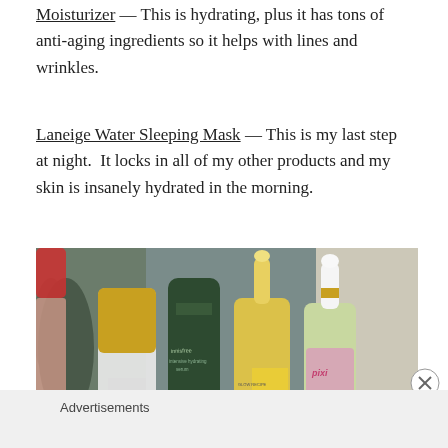Moisturizer — This is hydrating, plus it has tons of anti-aging ingredients so it helps with lines and wrinkles.
Laneige Water Sleeping Mask — This is my last step at night.  It locks in all of my other products and my skin is insanely hydrated in the morning.
[Figure (photo): Photo of several skincare product bottles lined up: Farmacy, Innisfree Intensive Hydrating Serum, Glow Recipe Pineapple Bright Serum, and Pixi. Bottles have gold, dark green, yellow/clear, and pastel green packaging.]
Advertisements